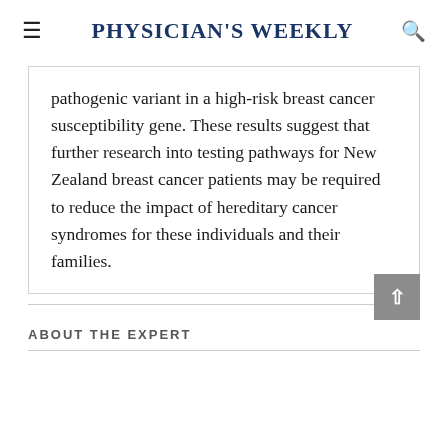Physician's Weekly
pathogenic variant in a high-risk breast cancer susceptibility gene. These results suggest that further research into testing pathways for New Zealand breast cancer patients may be required to reduce the impact of hereditary cancer syndromes for these individuals and their families.
ABOUT THE EXPERT